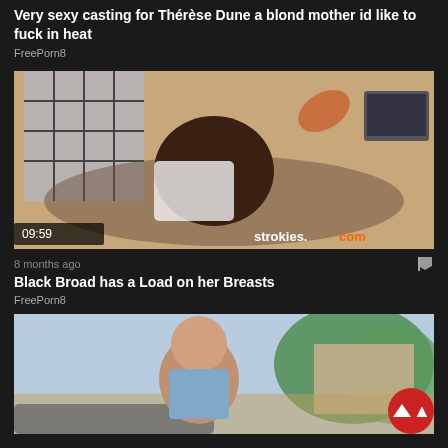Very sexy casting for Thérèse Dune a blond mother id like to fuck in heat
FreePorn8
[Figure (photo): Video thumbnail showing a woman lying on a bed. Duration badge 09:59, watermark strokies.com]
8 months ago
Black Broad has a Load on her Breasts
FreePorn8
[Figure (photo): Video thumbnail showing a blonde woman outdoors near a house. Partially visible watermark.]